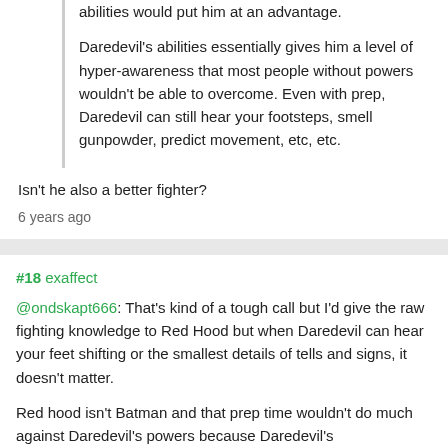abilities would put him at an advantage.

Daredevil's abilities essentially gives him a level of hyper-awareness that most people without powers wouldn't be able to overcome. Even with prep, Daredevil can still hear your footsteps, smell gunpowder, predict movement, etc, etc.
Isn't he also a better fighter?
6 years ago
#18 exaffect
@ondskapt666: That's kind of a tough call but I'd give the raw fighting knowledge to Red Hood but when Daredevil can hear your feet shifting or the smallest details of tells and signs, it doesn't matter.
Red hood isn't Batman and that prep time wouldn't do much against Daredevil's powers because Daredevil's